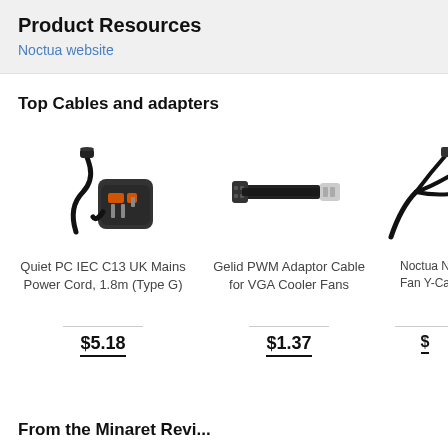Product Resources
Noctua website
Top Cables and adapters
[Figure (photo): Quiet PC IEC C13 UK Mains Power Cord, 1.8m (Type G) - product photo showing power cord and UK plug]
Quiet PC IEC C13 UK Mains Power Cord, 1.8m (Type G)
$5.18
[Figure (photo): Gelid PWM Adaptor Cable for VGA Cooler Fans - product photo showing short flat cable]
Gelid PWM Adaptor Cable for VGA Cooler Fans
$1.37
[Figure (photo): Noctua NA-SYC1 Fan Y-Cable - partially cropped product photo showing Y-cable splitter]
Noctua N... Fan Y-Ca...
$...
From the Minaret Revi...